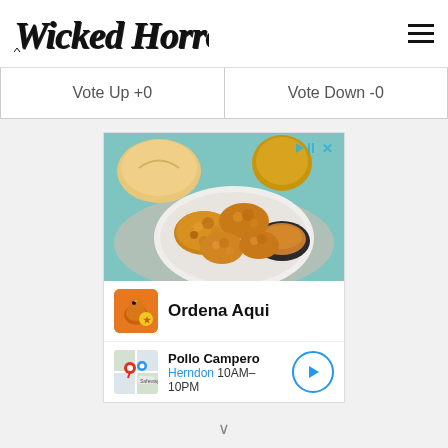Wicked Horror
Vote Up +0
Vote Down -0
[Figure (photo): Advertisement showing fried chicken pieces with dipping sauce on a plate, with bread rolls in background. Includes Pollo Campero branding with 'Ordena Aqui' call to action and location info: Herndon 10AM-10PM.]